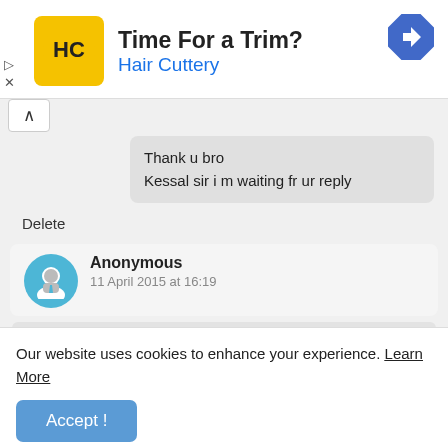[Figure (logo): Hair Cuttery ad banner with HC logo, 'Time For a Trim?' heading and blue 'Hair Cuttery' subheading, with navigation arrow icon]
Thank u bro
Kessal sir i m waiting fr ur reply
Delete
Anonymous
11 April 2015 at 16:19
As you got 151 answers correct and belongs
Our website uses cookies to enhance your experience. Learn More
Accept !